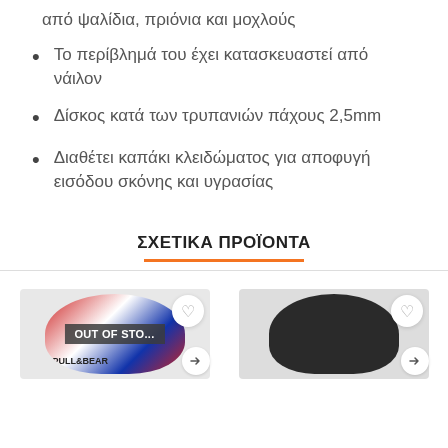από ψαλίδια, πριόνια και μοχλούς
Το περίβλημά του έχει κατασκευαστεί από νάιλον
Δίσκος κατά των τρυπανιών πάχους 2,5mm
Διαθέτει καπάκι κλειδώματος για αποφυγή εισόδου σκόνης και υγρασίας
ΣΧΕΤΙΚΑ ΠΡΟΪΟΝΤΑ
[Figure (photo): Product card showing a colorful motorcycle helmet with PULL&BEAR branding, marked as OUT OF STOCK, with a wishlist heart button and arrow button]
[Figure (photo): Product card showing a dark/black motorcycle helmet with a wishlist heart button and arrow button]